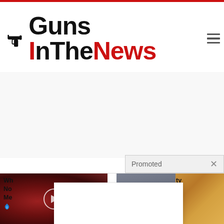[Figure (logo): GunsInTheNews website logo with gun silhouette graphic and red/black text, hamburger menu icon on right]
[Figure (photo): Advertisement/promoted content area - blank gray space]
Promoted ×
[Figure (photo): Left thumbnail: dark red medical/biological image with play button overlay]
[Figure (photo): Right thumbnail: woman exercising with food/supplement items]
Wh... No... Me...
...ty